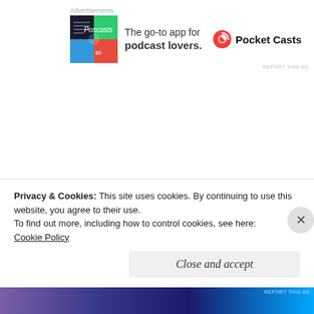[Figure (other): Pocket Casts advertisement banner with colorful app icon logo and text 'The go-to app for podcast lovers.' with Pocket Casts logo]
XIV. Of all men they alone are at leisure who take time for philosophy, they alone really live; for they are not content to be good guardians of their own lifetime only. They annex ever age to their own; all the years that have gone ore them are an addition to their store. Unless we are most ungrateful, all those men, glorious fashioners of
Privacy & Cookies: This site uses cookies. By continuing to use this website, you agree to their use.
To find out more, including how to control cookies, see here:
Cookie Policy
Close and accept